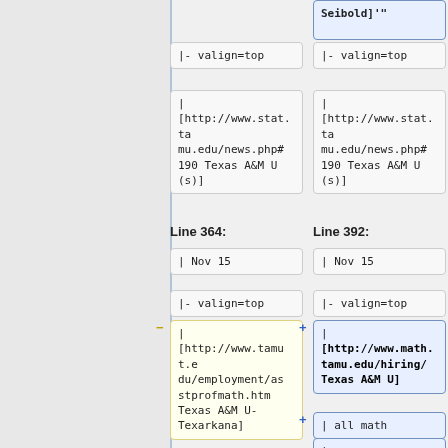Seibold]'"
|- valign=top
|- valign=top
|
[http://www.stat.tamu.edu/news.php#190 Texas A&M U (s)]
|
[http://www.stat.tamu.edu/news.php#190 Texas A&M U (s)]
Line 364:
Line 392:
| Nov 15
| Nov 15
|- valign=top
|- valign=top
|
[http://www.tamut.edu/employment/asstprofmath.htm
Texas A&M U-Texarkana]
|
[http://www.math.tamu.edu/hiring/
Texas A&M U]
| all math
|